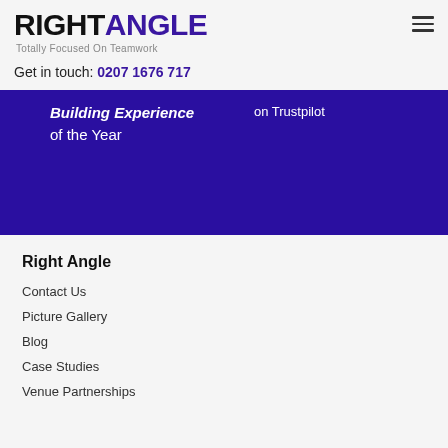RIGHT ANGLE — Totally Focused On Teamwork
Get in touch: 0207 1676 717
[Figure (screenshot): Dark blue promotional banner with white italic bold text 'Building Experience of the Year' on left and 'on Trustpilot' on right]
Right Angle
Contact Us
Picture Gallery
Blog
Case Studies
Venue Partnerships